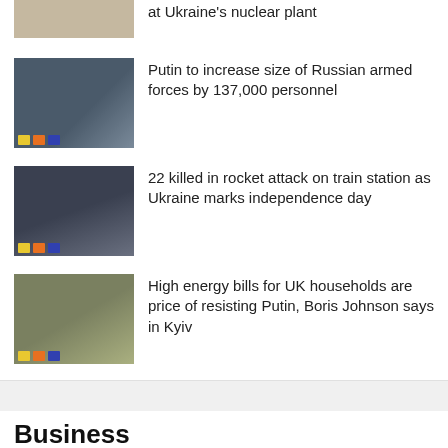[Figure (photo): Partial news thumbnail at top of page, article about Ukraine nuclear plant]
at Ukraine's nuclear plant
[Figure (photo): Putin reviewing military parade with honor guard]
Putin to increase size of Russian armed forces by 137,000 personnel
[Figure (photo): Military vehicles in rocket attack aftermath at train station]
22 killed in rocket attack on train station as Ukraine marks independence day
[Figure (photo): Boris Johnson and Zelensky meeting in Kyiv]
High energy bills for UK households are price of resisting Putin, Boris Johnson says in Kyiv
Business
[Figure (photo): Fund manager Jupiter news thumbnail]
Fund manager Jupiter in talks to sell 10% stake